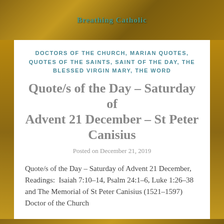Breathing Catholic
DOCTORS OF THE CHURCH, MARIAN QUOTES, QUOTES OF THE SAINTS, SAINT OF THE DAY, THE BLESSED VIRGIN MARY, THE WORD
Quote/s of the Day – Saturday of Advent 21 December – St Peter Canisius
Posted on December 21, 2019
Quote/s of the Day – Saturday of Advent 21 December, Readings: Isaiah 7:10–14, Psalm 24:1–6, Luke 1:26–38 and The Memorial of St Peter Canisius (1521–1597) Doctor of the Church